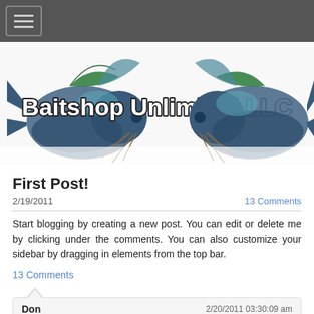Navigation bar with hamburger menu
[Figure (logo): Baitshop Unlimited LLC banner with catfish illustrations on left and right sides and bold white text in center reading 'Baitshop Unlimited LLC']
First Post!
2/19/2011
13 Comments
Start blogging by creating a new post. You can edit or delete me by clicking under the comments. You can also customize your sidebar by dragging in elements from the top bar.
13 Comments
Don   2/20/2011 03:30:09 am
I've known these people for many years and they always know